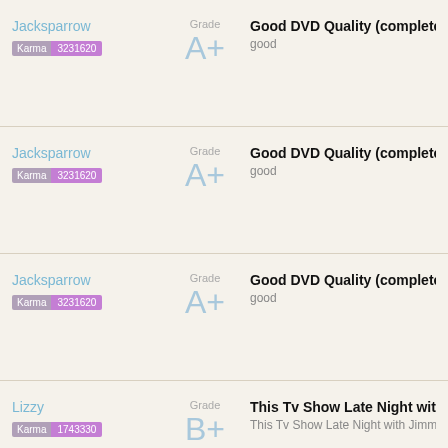Jacksparrow | Karma 3231620 | Grade A+ | Good DVD Quality (complete) | good
Jacksparrow | Karma 3231620 | Grade A+ | Good DVD Quality (complete) | good
Jacksparrow | Karma 3231620 | Grade A+ | Good DVD Quality (complete) | good
Lizzy | Karma 1743330 | Grade B+ | This Tv Show Late Night with Jim | This Tv Show Late Night with Jimmy